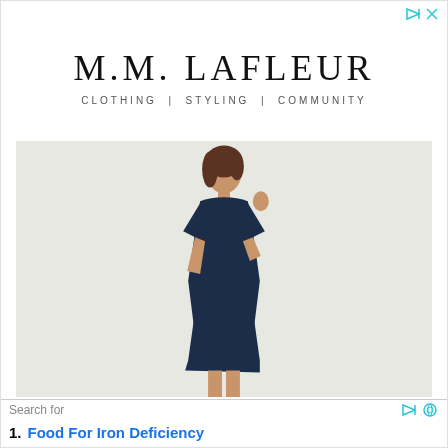[Figure (logo): M.M. LaFleur brand logo with tagline CLOTHING | STYLING | COMMUNITY]
[Figure (photo): A woman wearing a navy blue short-sleeve A-line dress with white sneakers, posing against a light background]
Search for
1. Food For Iron Deficiency
2. 10 Foods You Should Avoid